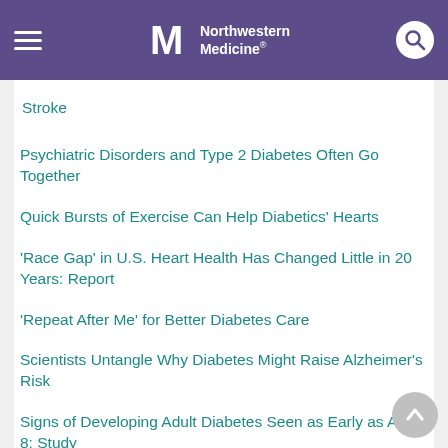Northwestern Medicine
Stroke
Psychiatric Disorders and Type 2 Diabetes Often Go Together
Quick Bursts of Exercise Can Help Diabetics' Hearts
'Race Gap' in U.S. Heart Health Has Changed Little in 20 Years: Report
'Repeat After Me' for Better Diabetes Care
Scientists Untangle Why Diabetes Might Raise Alzheimer's Risk
Signs of Developing Adult Diabetes Seen as Early as Age 8: Study
Sleep Apnea Tied to Raised Diabetes Risk in Black Americans